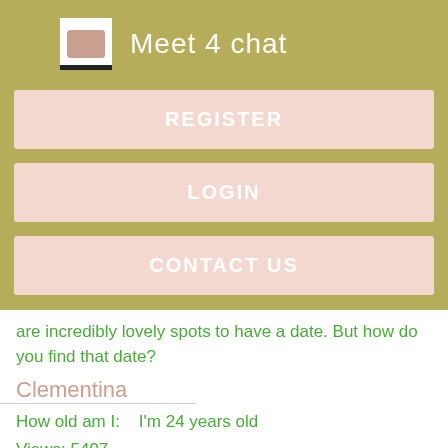Meet 4 chat
REGISTER
LOGIN
CONTACT US
are incredibly lovely spots to have a date. But how do you find that date?
Clementina
How old am I:    I'm 24 years old
Views: 5497